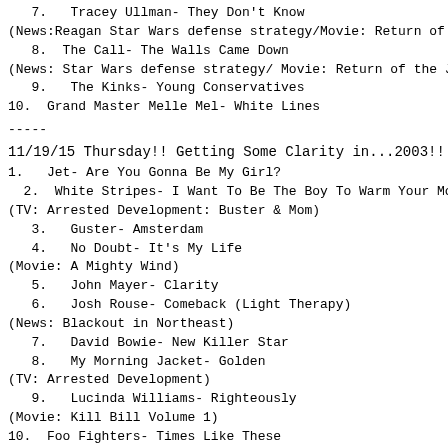7.   Tracey Ullman- They Don't Know
(News:Reagan Star Wars defense strategy/Movie: Return of
8.  The Call- The Walls Came Down
(News: Star Wars defense strategy/ Movie: Return of the J
9.   The Kinks- Young Conservatives
10.  Grand Master Melle Mel- White Lines
-----
11/19/15 Thursday!! Getting Some Clarity in...2003!!
1.   Jet- Are You Gonna Be My Girl?
2.  White Stripes- I Want To Be The Boy To Warm Your Mo
(TV: Arrested Development: Buster & Mom)
3.   Guster- Amsterdam
4.   No Doubt- It's My Life
(Movie: A Mighty Wind)
5.   John Mayer- Clarity
6.   Josh Rouse- Comeback (Light Therapy)
(News: Blackout in Northeast)
7.   David Bowie- New Killer Star
8.   My Morning Jacket- Golden
(TV: Arrested Development)
9.   Lucinda Williams- Righteously
(Movie: Kill Bill Volume 1)
10.  Foo Fighters- Times Like These
-----
11/18/15 Wednesday!! Deja Vu, Janis and Jimi in...1970!!
1.   CSNY- Deja Vu